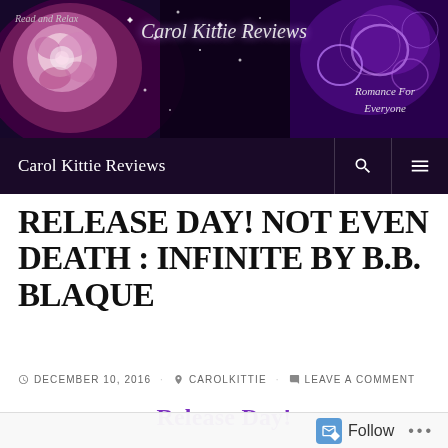[Figure (screenshot): Carol Kittie Reviews blog header banner with purple rose, sparkles, glowing hearts on dark purple background, text 'Read and Relax', 'Carol Kittie Reviews', 'Romance For Everyone']
Carol Kittie Reviews
RELEASE DAY! NOT EVEN DEATH : INFINITE BY B.B. BLAQUE
DECEMBER 10, 2016   CAROLKITTIE   LEAVE A COMMENT
Release Day!